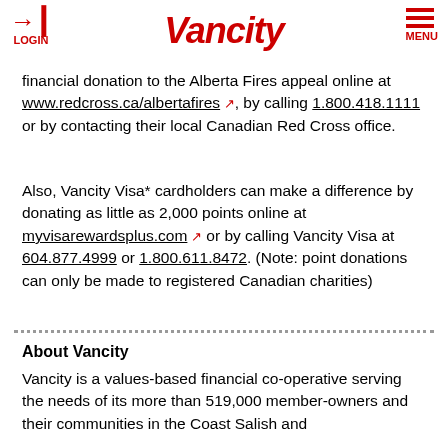LOGIN | Vancity | MENU
financial donation to the Alberta Fires appeal online at www.redcross.ca/albertafires, by calling 1.800.418.1111 or by contacting their local Canadian Red Cross office.
Also, Vancity Visa* cardholders can make a difference by donating as little as 2,000 points online at myvisarewardsplus.com or by calling Vancity Visa at 604.877.4999 or 1.800.611.8472. (Note: point donations can only be made to registered Canadian charities)
About Vancity
Vancity is a values-based financial co-operative serving the needs of its more than 519,000 member-owners and their communities in the Coast Salish and